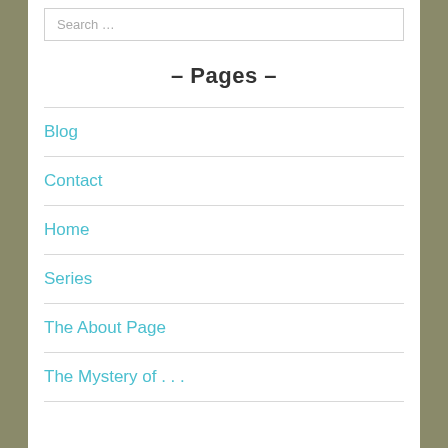Search …
– Pages –
Blog
Contact
Home
Series
The About Page
The Mystery of . . .